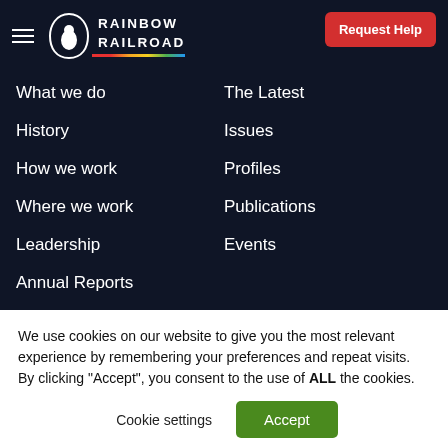RAINBOW RAILROAD
What we do
The Latest
History
Issues
How we work
Profiles
Where we work
Publications
Leadership
Events
Annual Reports
Careers
We use cookies on our website to give you the most relevant experience by remembering your preferences and repeat visits. By clicking “Accept”, you consent to the use of ALL the cookies.
Cookie settings | Accept